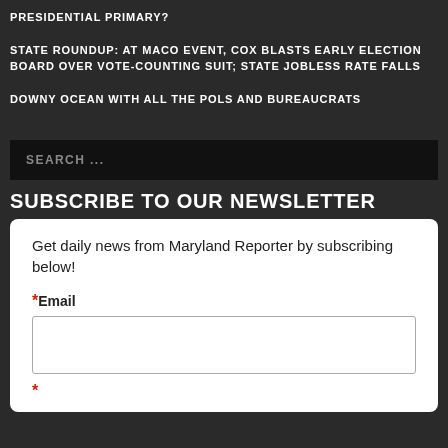PRESIDENTIAL PRIMARY?
STATE ROUNDUP: AT MACO EVENT, COX BLASTS EARLY ELECTION BOARD OVER VOTE-COUNTING SUIT; STATE JOBLESS RATE FALLS
DOWNY OCEAN WITH ALL THE POLS AND BUREAUCRATS
SEARCH ...
SUBSCRIBE TO OUR NEWSLETTER
Get daily news from Maryland Reporter by subscribing below!
* Email